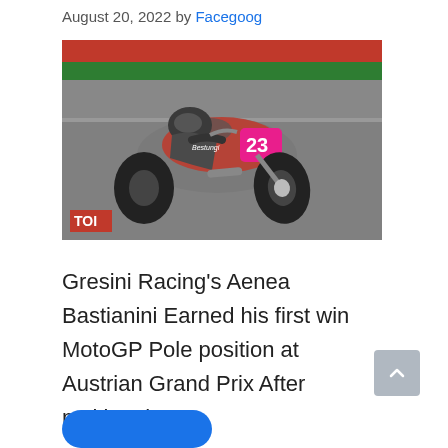August 20, 2022 by Facegoog
[Figure (photo): MotoGP motorcycle racer number 23 on a Gresini Racing bike leaning deeply into a corner on a race track, with red and green barriers visible in the background. A red TOI logo watermark is visible in the lower left corner.]
Gresini Racing's Aenea Bastianini Earned his first win MotoGP Pole position at Austrian Grand Prix After making the ...